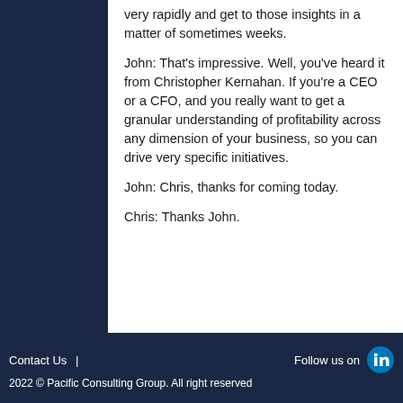very rapidly and get to those insights in a matter of sometimes weeks.
John:  That's impressive. Well, you've heard it from Christopher Kernahan. If you're a CEO or a CFO, and you really want to get a granular understanding of profitability across any dimension of your business, so you can drive very specific initiatives.
John:  Chris, thanks for coming today.
Chris: Thanks John.
Contact Us  |  Follow us on  2022 © Pacific Consulting Group. All right reserved